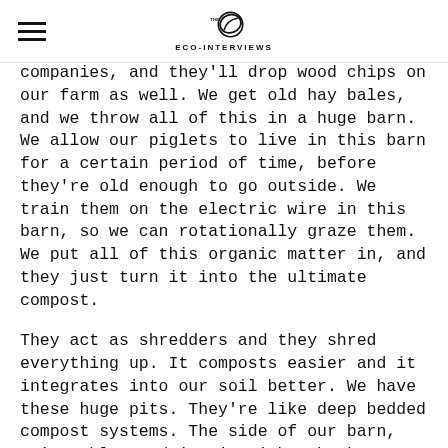THE ECO-INTERVIEWS
companies, and they'll drop wood chips on our farm as well. We get old hay bales, and we throw all of this in a huge barn. We allow our piglets to live in this barn for a certain period of time, before they're old enough to go outside. We train them on the electric wire in this barn, so we can rotationally graze them. We put all of this organic matter in, and they just turn it into the ultimate compost.
They act as shredders and they shred everything up. It composts easier and it integrates into our soil better. We have these huge pits. They're like deep bedded compost systems. The side of our barn, we're able to drive in with a bucket loaded tractor and dump about a yard of fresh shavings or wood chips and the manure. The pigs will eat it. They'll tear it apart. They'll poop in it, they pee in it. We dump our water in it, so it has moisture content, the perfect moisture content. Then every few months, we'll open the big gates up.